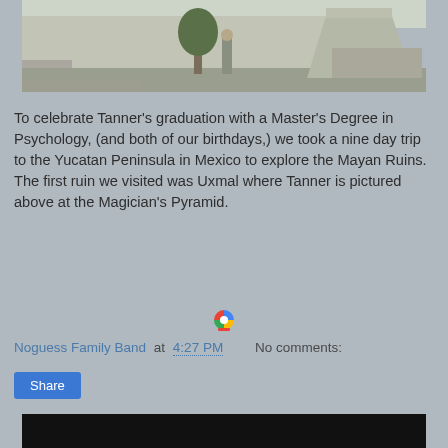[Figure (photo): Outdoor photo at Uxmal Mayan ruins, person standing near the Magician's Pyramid, trees and stone walls visible]
To celebrate Tanner's graduation with a Master's Degree in Psychology, (and both of our birthdays,) we took a nine day trip to the Yucatan Peninsula in Mexico to explore the Mayan Ruins. The first ruin we visited was Uxmal where Tanner is pictured above at the Magician's Pyramid.
[Figure (logo): Small Google Photos / share icon]
Noguess Family Band at 4:27 PM    No comments:
Share
[Figure (photo): Bottom black strip, beginning of next photo]